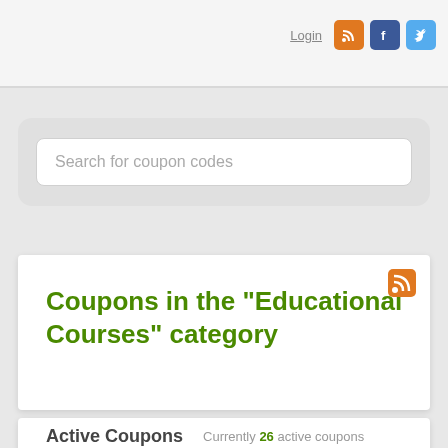Login
Search for coupon codes
Coupons in the "Educational Courses" category
Active Coupons    Currently 26 active coupons